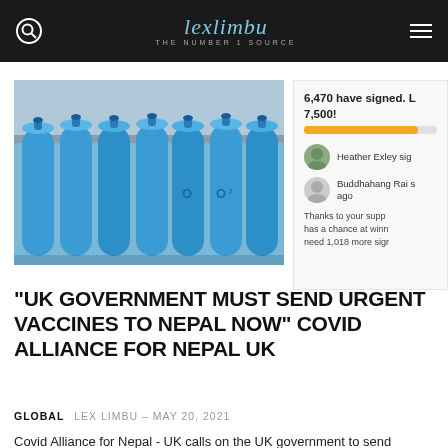lexlimbu THE NUMBER 1 SOURCE
[Figure (photo): Row of blue oxygen cylinders/gas tanks in an industrial storage area]
[Figure (infographic): Petition sidebar showing 6,470 have signed, progress bar, signers Heather Exley and Buddhahang Rai, and text about needing 1,018 more signatures to reach 7,500]
“UK GOVERNMENT MUST SEND URGENT VACCINES TO NEPAL NOW” COVID ALLIANCE FOR NEPAL UK
GLOBAL  LEX LIMBU - MAY 20, 2021
Covid Alliance for Nepal - UK calls on the UK government to send